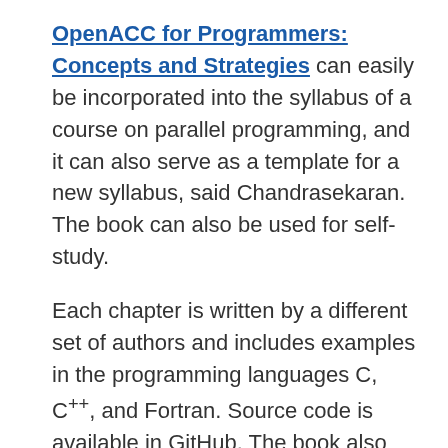OpenACC for Programmers: Concepts and Strategies can easily be incorporated into the syllabus of a course on parallel programming, and it can also serve as a template for a new syllabus, said Chandrasekaran. The book can also be used for self-study.
Each chapter is written by a different set of authors and includes examples in the programming languages C, C++, and Fortran. Source code is available in GitHub. The book also contains exercises, including multiple choices questions and coding challenges.